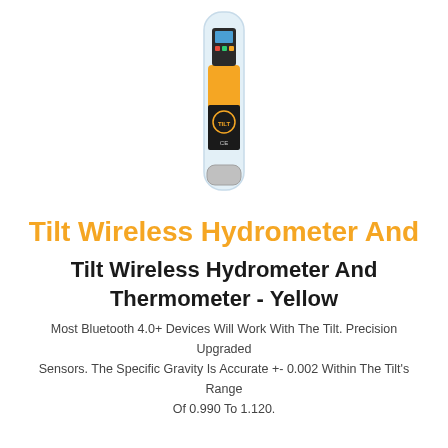[Figure (photo): Tilt Wireless Hydrometer and Thermometer in Yellow color, shown in a clear tube/capsule packaging with yellow and black device visible]
Tilt Wireless Hydrometer And
Tilt Wireless Hydrometer And Thermometer - Yellow
Most Bluetooth 4.0+ Devices Will Work With The Tilt. Precision Upgraded Sensors. The Specific Gravity Is Accurate +- 0.002 Within The Tilt's Range Of 0.990 To 1.120.